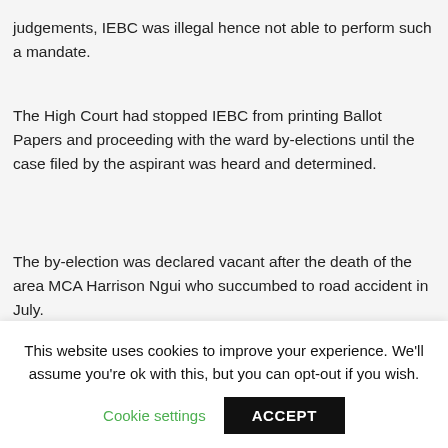judgements, IEBC was illegal hence not able to perform such a mandate.
The High Court had stopped IEBC from printing Ballot Papers and proceeding with the ward by-elections until the case filed by the aspirant was heard and determined.
The by-election was declared vacant after the death of the area MCA Harrison Ngui who succumbed to road accident in July.
Fsbio Mwaiwa of Wiper Party and Daniel
This website uses cookies to improve your experience. We'll assume you're ok with this, but you can opt-out if you wish.
Cookie settings
ACCEPT